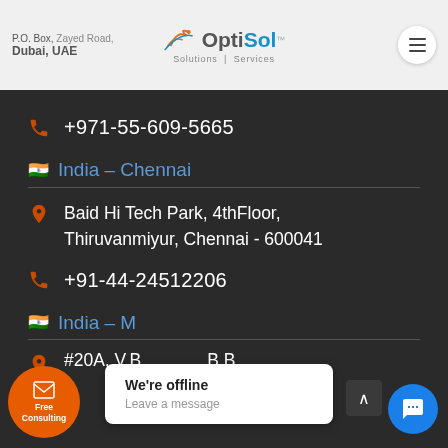P.O. Box, Zayed Road, Dubai, UAE — OptiSol Solutions | Services
+971-55-609-5665
India – Chennai
Baid Hi Tech Park, 4thFloor, Thiruvanmiyur, Chennai - 600041
+91-44-24512206
India – M…
#20A, V.B…
We're offline
Leave a message